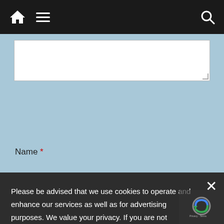Navigation bar with home icon, menu icon, and search icon
Name *
Please be advised that we use cookies to operate and enhance our services as well as for advertising purposes. We value your privacy. If you are not comfortable with us using this information, please review your settings before continuing your visit.
Manage your navigation settings
Website
Find out more